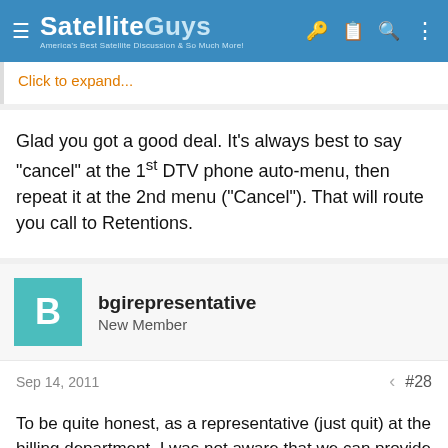SatelliteGuys — America's Best Satellite Discussion & So Much More!
Click to expand...
Glad you got a good deal. It's always best to say "cancel" at the 1st DTV phone auto-menu, then repeat it at the 2nd menu ("Cancel"). That will route you call to Retentions.
bgirepresentative
New Member
Sep 14, 2011   #28
To be quite honest, as a representative (just quit) at the billing department, I was not aware that we can provide the RZ as a la carte channel.